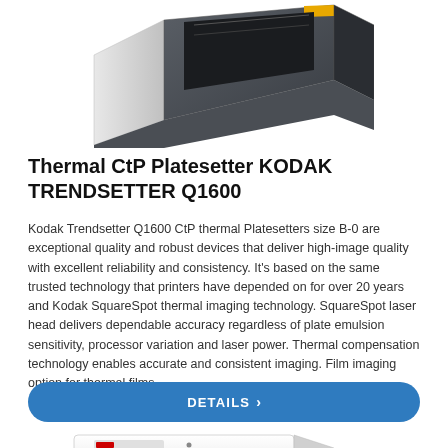[Figure (photo): Top portion of a Kodak Trendsetter Q1600 thermal CtP platesetter machine, dark grey color with yellow accent, shown at an angle from above]
Thermal CtP Platesetter KODAK TRENDSETTER Q1600
Kodak Trendsetter Q1600 CtP thermal Platesetters size B-0 are exceptional quality and robust devices that deliver high-image quality with excellent reliability and consistency. It's based on the same trusted technology that printers have depended on for over 20 years and Kodak SquareSpot thermal imaging technology. SquareSpot laser head delivers dependable accuracy regardless of plate emulsion sensitivity, processor variation and laser power. Thermal compensation technology enables accurate and consistent imaging. Film imaging option for thermal films...
[Figure (photo): Bottom portion of a Kodak platesetter machine, white/light grey color, shown at an angle with a dark flat tray/plate output area]
DETAILS ›